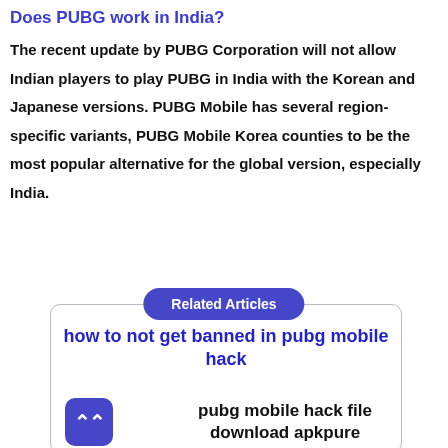Does PUBG work in India?
The recent update by PUBG Corporation will not allow Indian players to play PUBG in India with the Korean and Japanese versions. PUBG Mobile has several region-specific variants, PUBG Mobile Korea counties to be the most popular alternative for the global version, especially India.
Related Articles
how to not get banned in pubg mobile hack
pubg mobile hack file download apkpure